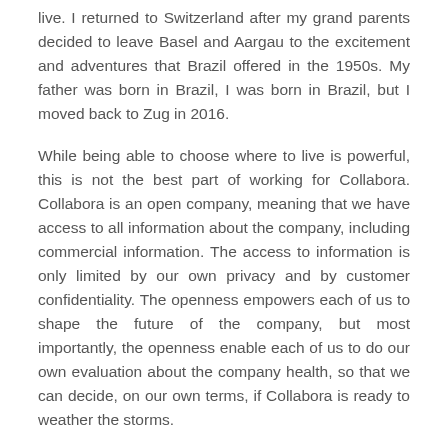live. I returned to Switzerland after my grand parents decided to leave Basel and Aargau to the excitement and adventures that Brazil offered in the 1950s. My father was born in Brazil, I was born in Brazil, but I moved back to Zug in 2016.
While being able to choose where to live is powerful, this is not the best part of working for Collabora. Collabora is an open company, meaning that we have access to all information about the company, including commercial information. The access to information is only limited by our own privacy and by customer confidentiality. The openness empowers each of us to shape the future of the company, but most importantly, the openness enable each of us to do our own evaluation about the company health, so that we can decide, on our own terms, if Collabora is ready to weather the storms.
And what a storm took us by surprise in the first quarter of 2020! While we watched the world dealing with all sorts of...